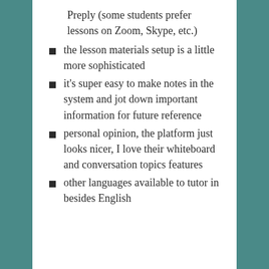Preply (some students prefer lessons on Zoom, Skype, etc.)
the lesson materials setup is a little more sophisticated
it's super easy to make notes in the system and jot down important information for future reference
personal opinion, the platform just looks nicer, I love their whiteboard and conversation topics features
other languages available to tutor in besides English